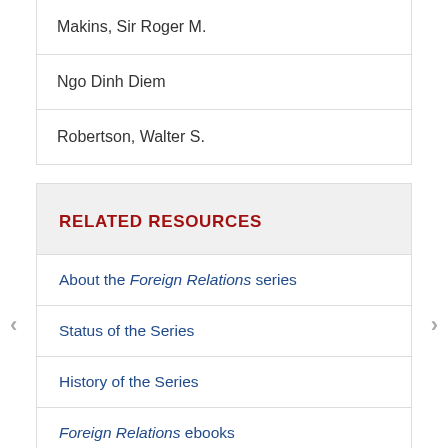Makins, Sir Roger M.
Ngo Dinh Diem
Robertson, Walter S.
RELATED RESOURCES
About the Foreign Relations series
Status of the Series
History of the Series
Foreign Relations ebooks
Other Electronic resources for U.S. foreign relations
Guide to sources on Vietnam, 1969–1975